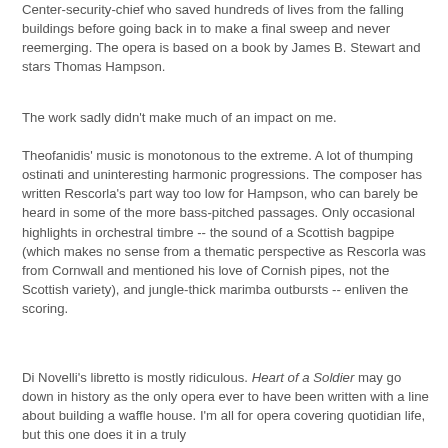Center-security-chief who saved hundreds of lives from the falling buildings before going back in to make a final sweep and never reemerging. The opera is based on a book by James B. Stewart and stars Thomas Hampson.
The work sadly didn't make much of an impact on me.
Theofanidis' music is monotonous to the extreme. A lot of thumping ostinati and uninteresting harmonic progressions. The composer has written Rescorla's part way too low for Hampson, who can barely be heard in some of the more bass-pitched passages. Only occasional highlights in orchestral timbre -- the sound of a Scottish bagpipe (which makes no sense from a thematic perspective as Rescorla was from Cornwall and mentioned his love of Cornish pipes, not the Scottish variety), and jungle-thick marimba outbursts -- enliven the scoring.
Di Novelli's libretto is mostly ridiculous. Heart of a Soldier may go down in history as the only opera ever to have been written with a line about building a waffle house. I'm all for opera covering quotidian life, but this one does it in a truly